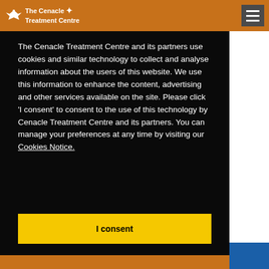The Cenacle Treatment Centre
The Cenacle Treatment Centre and its partners use cookies and similar technology to collect and analyse information about the users of this website. We use this information to enhance the content, advertising and other services available on the site. Please click ‘I consent’ to consent to the use of this technology by Cenacle Treatment Centre and its partners. You can manage your preferences at any time by visiting our Cookies Notice.
I consent